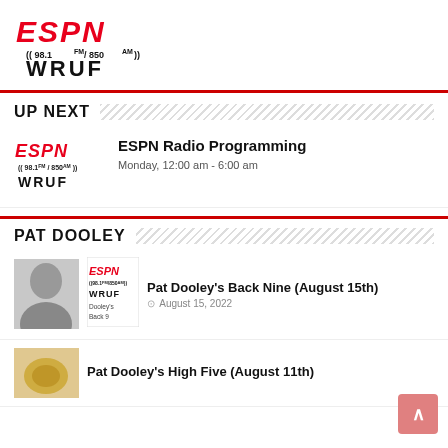[Figure (logo): ESPN 98.1FM / 850AM WRUF radio station logo at top]
UP NEXT
[Figure (logo): ESPN 98.1FM / 850AM WRUF logo in card]
ESPN Radio Programming
Monday, 12:00 am - 6:00 am
PAT DOOLEY
[Figure (photo): Photo of Pat Dooley with ESPN WRUF Back Nine overlay logo]
Pat Dooley's Back Nine (August 15th)
August 15, 2022
[Figure (illustration): Thumbnail image for Pat Dooley's High Five]
Pat Dooley's High Five (August 11th)